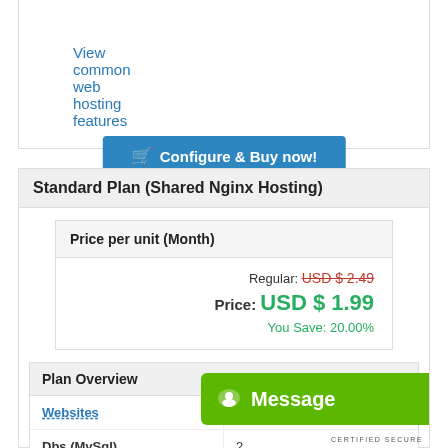View common web hosting features
Configure & Buy now!
Standard Plan (Shared Nginx Hosting)
| Price per unit (Month) |
| --- |
| Regular: USD $ 2.49 |
| Price: USD $ 1.99 |
| You Save: 20.00% |
| Plan Overview |
| --- |
| Websites | 1 | Dbs (MySql) | 2 |
| Storage | 2GB | Emai... | ...lite |
| Bandwidth | 10GB | FTP... |  |
[Figure (other): Green 'Message' chat widget button overlay in bottom right]